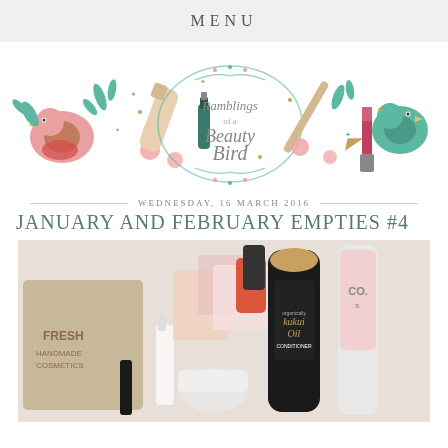MENU
[Figure (illustration): Decorative blog header banner reading 'Ramblings of a Beauty Bird' with illustrated birds, flowers, makeup products including nail polish, lipstick, mascara, and a foundation tube in pink, teal, and brown tones.]
WEDNESDAY, 16 MARCH 2016
JANUARY AND FEBRUARY EMPTIES #4
[Figure (photo): Flat lay photograph of various empty beauty product containers including a Fresh Handmade Cosmetics bag, OGX kukui oil conditioner bottle, hair spray, small perfume bottle, mascara, eyeshadow palettes, lip products, and a jar on a white background.]